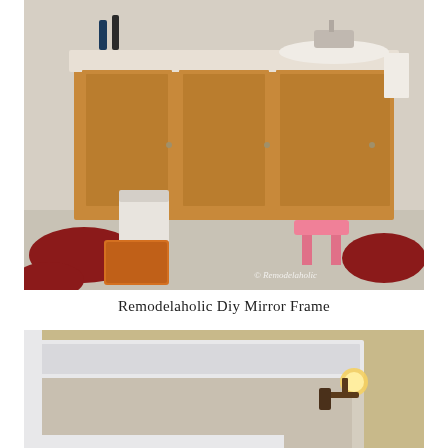[Figure (photo): Before photo of a bathroom vanity with golden oak wood cabinets, white countertop and sink, red rugs on the floor, a pink step stool, and a white bag on the floor. Watermark reads '© Remodelaholic' in bottom right corner.]
Remodelaholic Diy Mirror Frame
[Figure (photo): After photo showing a white framed mirror above a bathroom vanity, with a decorative wall sconce light fixture visible on the right side.]